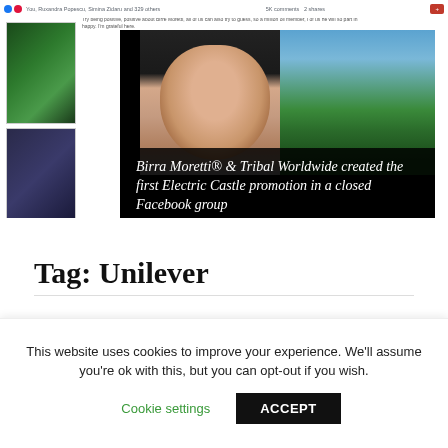[Figure (screenshot): Facebook post screenshot showing reaction icons, 'You, Ruxandra Popescu, Simina Zidaru and 329 others', '5K comments 2 shares', share button, and embedded video/image post for Birra Moretti Electric Castle promotion with overlay text]
Birra Moretti® & Tribal Worldwide created the first Electric Castle promotion in a closed Facebook group
Tag: Unilever
[Figure (photo): Partial photo of dark leafy/organic material, bottom portion cut off]
This website uses cookies to improve your experience. We'll assume you're ok with this, but you can opt-out if you wish.
Cookie settings
ACCEPT